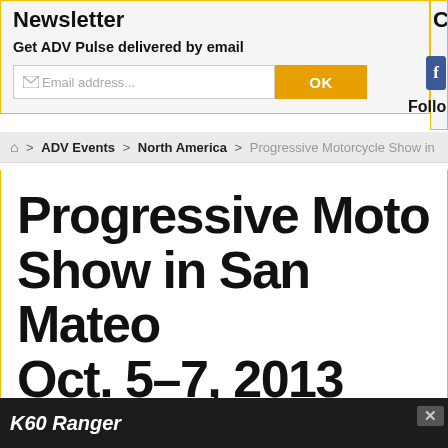Newsletter
Get ADV Pulse delivered by email
Email address...
Home > ADV Events > North America > Progressive Motorcycle Show in...
Progressive Motorcycle Show in San Mateo, Oct. 5-7, 2013
The latest Adventure Bike mo...
K60 Ranger